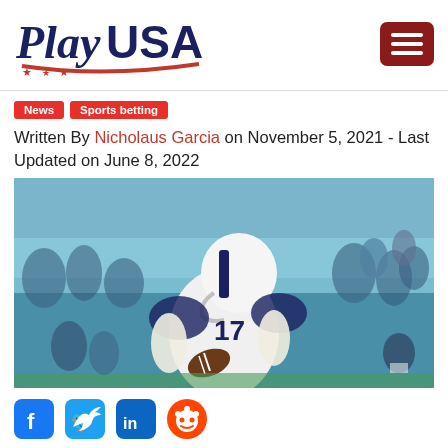[Figure (logo): PlayUSA logo with italic 'Play' in dark navy and bold 'USA' in dark navy, with a red star-and-stripes underline decoration]
[Figure (other): Dark red hamburger menu button with three white horizontal lines]
News   Sports betting
Written By Nicholaus Garcia on November 5, 2021 - Last Updated on June 8, 2022
[Figure (photo): Buffalo Bills quarterback #17 Josh Allen in white uniform dropping back to pass, with crowd in background at an NFL game]
[Figure (other): Social media share icons: Facebook, Twitter, LinkedIn, Reddit]